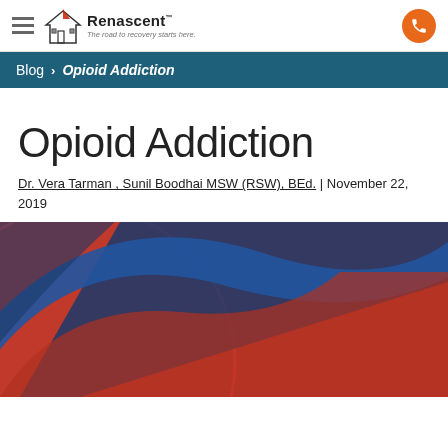Renascent — The road to recovery starts here.
Blog › Opioid Addiction
Opioid Addiction
Dr. Vera Tarman , Sunil Boodhai MSW (RSW), BEd.  | November 22, 2019
[Figure (photo): Abstract red and blue curved shapes, close-up photograph used as article header image for Opioid Addiction blog post.]